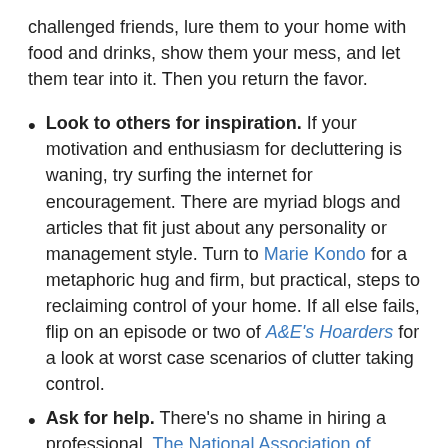challenged friends, lure them to your home with food and drinks, show them your mess, and let them tear into it. Then you return the favor.
Look to others for inspiration. If your motivation and enthusiasm for decluttering is waning, try surfing the internet for encouragement. There are myriad blogs and articles that fit just about any personality or management style. Turn to Marie Kondo for a metaphoric hug and firm, but practical, steps to reclaiming control of your home. If all else fails, flip on an episode or two of A&E's Hoarders for a look at worst case scenarios of clutter taking control.
Ask for help. There's no shame in hiring a professional. The National Association of Productivity & Organizing Professionals (NAPO) is a resource for finding one in your area. Find My